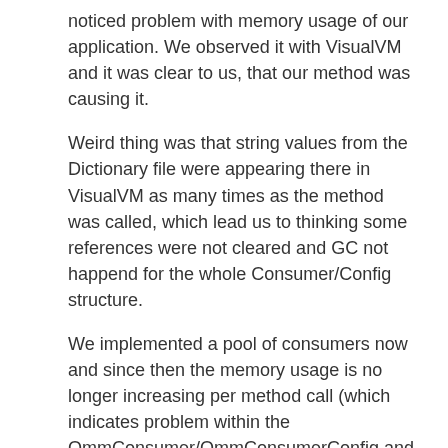noticed problem with memory usage of our application. We observed it with VisualVM and it was clear to us, that our method was causing it.
Weird thing was that string values from the Dictionary file were appearing there in VisualVM as many times as the method was called, which lead us to thinking some references were not cleared and GC not happend for the whole Consumer/Config structure.
We implemented a pool of consumers now and since then the memory usage is no longer increasing per method call (which indicates problem within the OmmConsumer/OmmConsumerConfig and not in our code which uses it).
Has anyone tried creating many consumers and deleting them during a single app lifecycle? (with loading of dictionary file from local filesystem - this may play a role, or not - I don't know).
Is there anything we need to do apart from calling ...